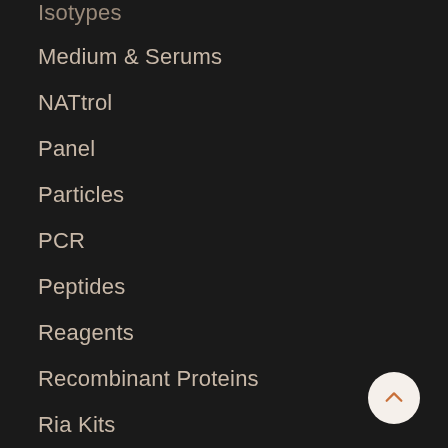Isotypes
Medium & Serums
NATtrol
Panel
Particles
PCR
Peptides
Reagents
Recombinant Proteins
Ria Kits
RNA